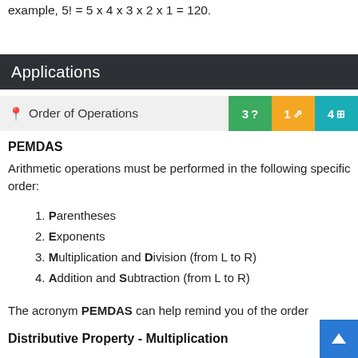example, 5! = 5 x 4 x 3 x 2 x 1 = 120.
Applications
Order of Operations   3 ?   1 ↗   4 ⊞
PEMDAS
Arithmetic operations must be performed in the following specific order:
1. Parentheses
2. Exponents
3. Multiplication and Division (from L to R)
4. Addition and Subtraction (from L to R)
The acronym PEMDAS can help remind you of the order
Distributive Property - Multiplication